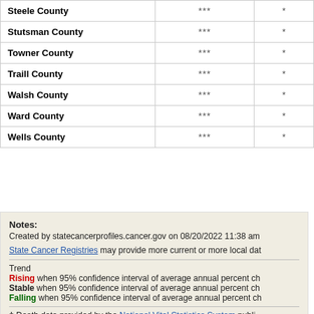| County | Column 2 | Column 3 |
| --- | --- | --- |
| Steele County | *** | * |
| Stutsman County | *** | * |
| Towner County | *** | * |
| Traill County | *** | * |
| Walsh County | *** | * |
| Ward County | *** | * |
| Wells County | *** | * |
Notes:
Created by statecancerprofiles.cancer.gov on 08/20/2022 11:38 am
State Cancer Registries may provide more current or more local dat
Trend
Rising when 95% confidence interval of average annual percent ch
Stable when 95% confidence interval of average annual percent ch
Falling when 95% confidence interval of average annual percent ch
† Death data provided by the National Vital Statistics System publi